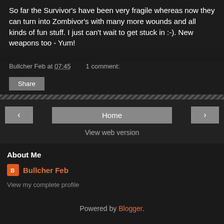So far the Survivor's have been very fragile whereas now they can turn into Zombivor's with many more wounds and all kinds of fun stuff. I just can't wait to get stuck in :-). New weapons too - Yum!
Bullcher Feb at 07:45    1 comment:
Share
< Home >
View web version
About Me
Bullcher Feb
View my complete profile
Powered by Blogger.